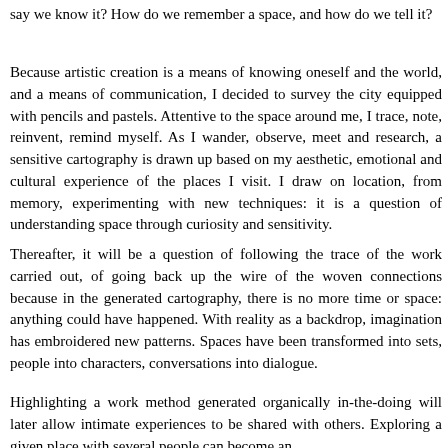say we know it? How do we remember a space, and how do we tell it?
Because artistic creation is a means of knowing oneself and the world, and a means of communication, I decided to survey the city equipped with pencils and pastels. Attentive to the space around me, I trace, note, reinvent, remind myself. As I wander, observe, meet and research, a sensitive cartography is drawn up based on my aesthetic, emotional and cultural experience of the places I visit. I draw on location, from memory, experimenting with new techniques: it is a question of understanding space through curiosity and sensitivity.
Thereafter, it will be a question of following the trace of the work carried out, of going back up the wire of the woven connections because in the generated cartography, there is no more time or space: anything could have happened. With reality as a backdrop, imagination has embroidered new patterns. Spaces have been transformed into sets, people into characters, conversations into dialogue.
Highlighting a work method generated organically in-the-doing will later allow intimate experiences to be shared with others. Exploring a given place with several people can become an